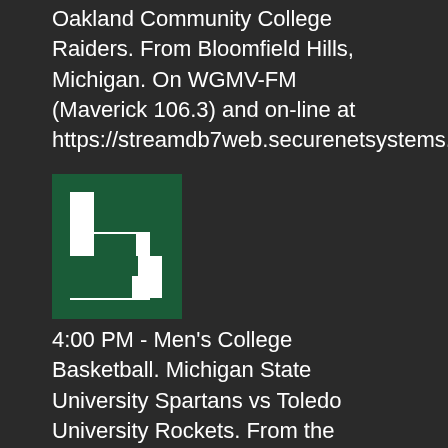Oakland Community College Raiders. From Bloomfield Hills, Michigan. On WGMV-FM (Maverick 106.3) and on-line at https://streamdb7web.securenetsystems.net/cirrusencore/WMXG
[Figure (logo): Michigan State University 'S' logo in green and white on dark background]
4:00 PM - Men's College Basketball. Michigan State University Spartans vs Toledo University Rockets. From the Breslin Center in East Lansing. Tip-off is 5:00 ET/4:00 CT. Coverage begins at 4:00 ET/3:00 CT on WZNL-FM (94.3 Iron Mountain) and on-line at www.radioresultsnetwork.com/breeze